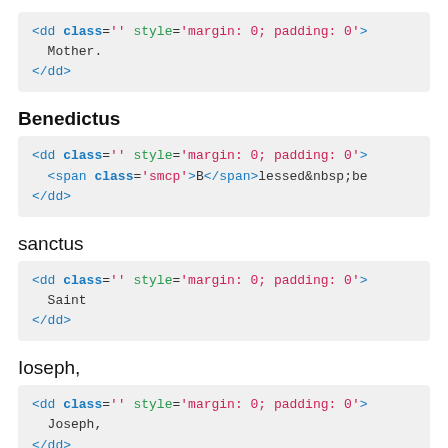<dd class='' style='margin: 0; padding: 0'>
  Mother.
</dd>
Benedictus
<dd class='' style='margin: 0; padding: 0'>
  <span class='smcp'>B</span>lessed&nbsp;be
</dd>
sanctus
<dd class='' style='margin: 0; padding: 0'>
  Saint
</dd>
Ioseph,
<dd class='' style='margin: 0; padding: 0'>
  Joseph,
</dd>
eius